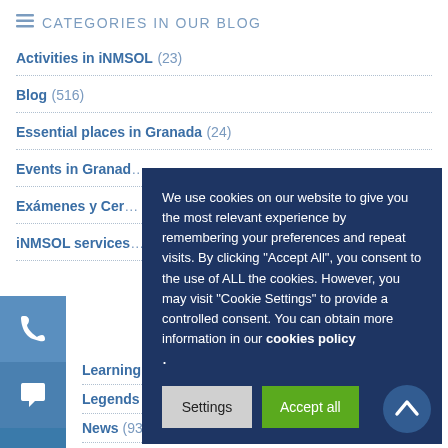CATEGORIES IN OUR BLOG
Activities in iNMSOL (23)
Blog (516)
Essential places in Granada (24)
Events in Granada
Exámenes y Cer…
iNMSOL services
Learning Spanish
Legends of Granada
News (93)
Spanish and Latin… (52)
[Figure (infographic): Cookie consent overlay on dark blue background with text about cookie usage and two buttons: Settings and Accept all, plus a scroll-to-top button]